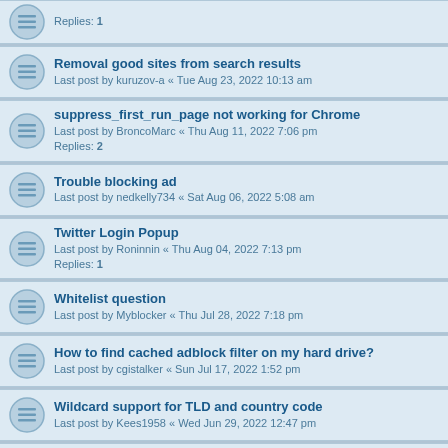Replies: 1
Removal good sites from search results
Last post by kuruzov-a « Tue Aug 23, 2022 10:13 am
suppress_first_run_page not working for Chrome
Last post by BroncoMarc « Thu Aug 11, 2022 7:06 pm
Replies: 2
Trouble blocking ad
Last post by nedkelly734 « Sat Aug 06, 2022 5:08 am
Twitter Login Popup
Last post by Roninnin « Thu Aug 04, 2022 7:13 pm
Replies: 1
Whitelist question
Last post by Myblocker « Thu Jul 28, 2022 7:18 pm
How to find cached adblock filter on my hard drive?
Last post by cgistalker « Sun Jul 17, 2022 1:52 pm
Wildcard support for TLD and country code
Last post by Kees1958 « Wed Jun 29, 2022 12:47 pm
How to block VPN offers in Demonoid.is?
Last post by jpbenfica « Wed Jun 29, 2022 10:22 am
Problem with SOIRISH site
Last post by KatieVargas « Wed Jun 29, 2022 5:11 am
Replies: 1
A YouTube Ad ending screen is still showing up
Last post by softorangetech112 « Sat Jun 11, 2022 5:40 am